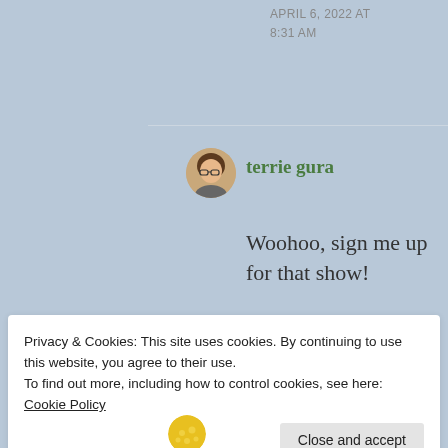APRIL 6, 2022 AT 8:31 AM
terrie gura
Woohoo, sign me up for that show!
Privacy & Cookies: This site uses cookies. By continuing to use this website, you agree to their use.
To find out more, including how to control cookies, see here: Cookie Policy
Close and accept